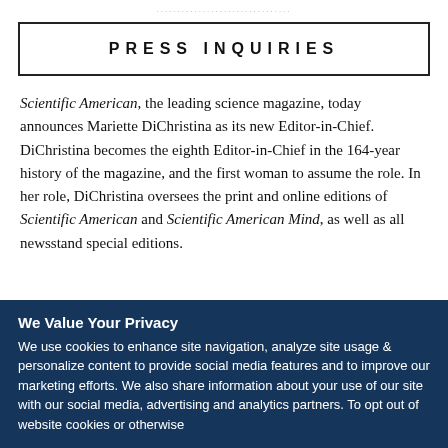................................
PRESS INQUIRIES
Scientific American, the leading science magazine, today announces Mariette DiChristina as its new Editor-in-Chief. DiChristina becomes the eighth Editor-in-Chief in the 164-year history of the magazine, and the first woman to assume the role. In her role, DiChristina oversees the print and online editions of Scientific American and Scientific American Mind, as well as all newsstand special editions.
We Value Your Privacy
We use cookies to enhance site navigation, analyze site usage & personalize content to provide social media features and to improve our marketing efforts. We also share information about your use of our site with our social media, advertising and analytics partners. To opt out of website cookies or otherwise